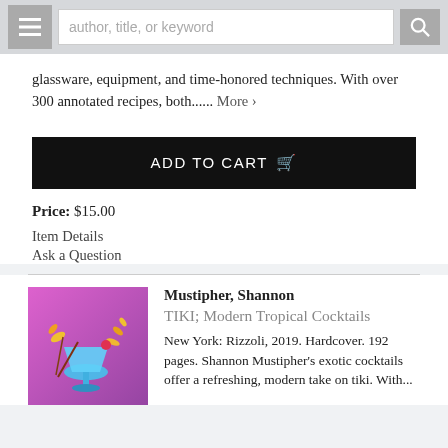author, title, or keyword
glassware, equipment, and time-honored techniques. With over 300 annotated recipes, both...... More >
ADD TO CART
Price: $15.00
Item Details
Ask a Question
Mustipher, Shannon
TIKI; Modern Tropical Cocktails
New York: Rizzoli, 2019. Hardcover. 192 pages. Shannon Mustipher's exotic cocktails offer a refreshing, modern take on tiki. With...